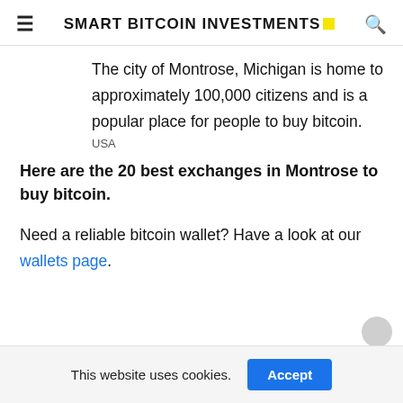SMART BITCOIN INVESTMENTS
The city of Montrose, Michigan is home to approximately 100,000 citizens and is a popular place for people to buy bitcoin.
USA
Here are the 20 best exchanges in Montrose to buy bitcoin.
Need a reliable bitcoin wallet? Have a look at our wallets page.
This website uses cookies.  Accept